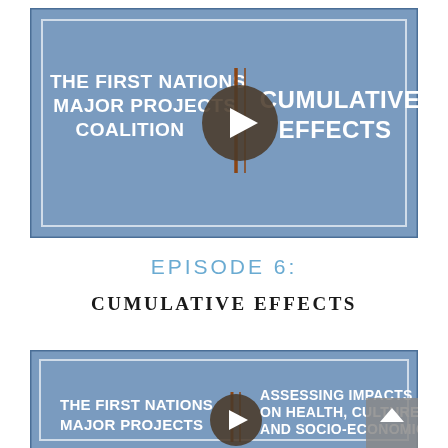[Figure (screenshot): Video thumbnail for Episode 6: Cumulative Effects. Blue background with white bold text 'THE FIRST NATIONS MAJOR PROJECTS COALITION' on left and 'CUMULATIVE EFFECTS' on right, with a play button circle in the center and brown vertical divider lines. White inner border frame.]
EPISODE 6:
CUMULATIVE EFFECTS
[Figure (screenshot): Partial video thumbnail for another episode. Blue background with white bold text 'THE FIRST NATIONS MAJOR PROJECTS' on left and 'ASSESSING IMPACTS ON HEALTH, CULTURE, AND SOCIO-ECONOMIC' on right, with a play button circle in center. Scroll-to-top arrow button visible in bottom right.]